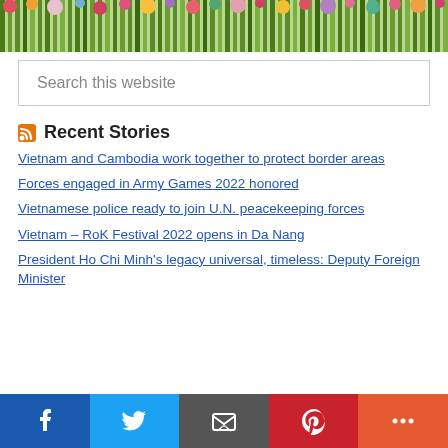[Figure (photo): Flower stems and bouquets arranged horizontally, viewed from above, showing green stems and colorful flower heads.]
Search this website
Recent Stories
Vietnam and Cambodia work together to protect border areas
Forces engaged in Army Games 2022 honored
Vietnamese police ready to join U.N. peacekeeping forces
Vietnam – RoK Festival 2022 opens in Da Nang
President Ho Chi Minh's legacy universal, timeless: Deputy Foreign Minister
[Figure (infographic): Social media share bar with Facebook, Twitter, Email, Pinterest, and More buttons in their brand colors.]